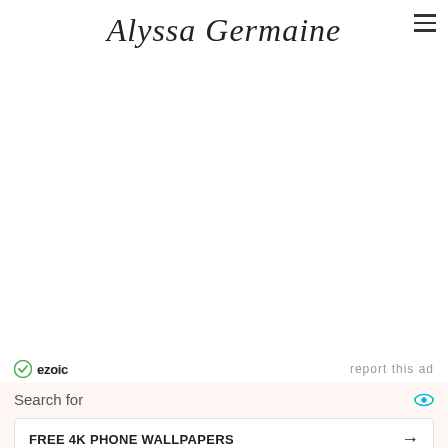Alyssa Germaine
[Figure (other): Accessibility/screen reader icon button in beige square, top right corner]
[Figure (other): Advertisement area (blank white space)]
ezoic   report this ad
Search for
FREE 4K PHONE WALLPAPERS →
DOWNLOAD WALLPAPERS FOR MOBILE →
Yahoo! Search | Sponsored